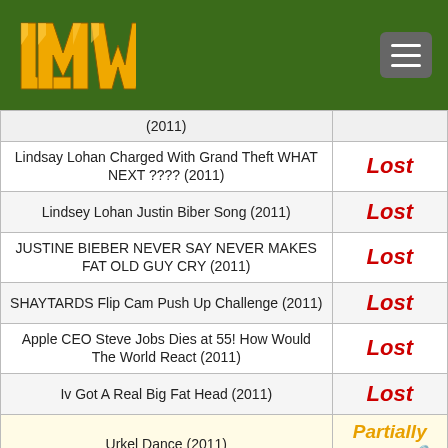LMW logo and navigation
| Title | Status |
| --- | --- |
| (2011) |  |
| Lindsay Lohan Charged With Grand Theft WHAT NEXT ???? (2011) | Lost |
| Lindsey Lohan Justin Biber Song (2011) | Lost |
| JUSTINE BIEBER NEVER SAY NEVER MAKES FAT OLD GUY CRY (2011) | Lost |
| SHAYTARDS Flip Cam Push Up Challenge (2011) | Lost |
| Apple CEO Steve Jobs Dies at 55! How Would The World React (2011) | Lost |
| Iv Got A Real Big Fat Head (2011) | Lost |
| Urkel Dance (2011) | Partially Found |